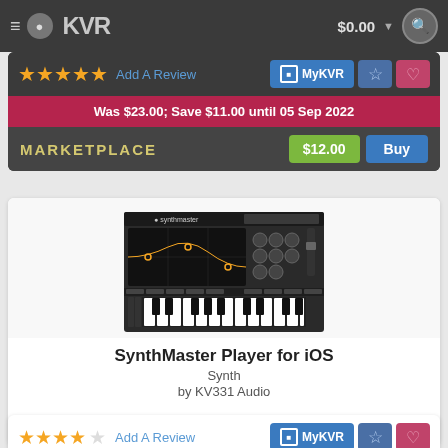KVR Audio — $0.00
Was $23.00; Save $11.00 until 05 Sep 2022
MARKETPLACE $12.00 Buy
[Figure (screenshot): SynthMaster Player synthesizer plugin interface showing keyboard and controls]
SynthMaster Player for iOS
Synth
by KV331 Audio
iOS   Free with in app purchases: $4.99 Pro Upgrade
Add A Review  MyKVR